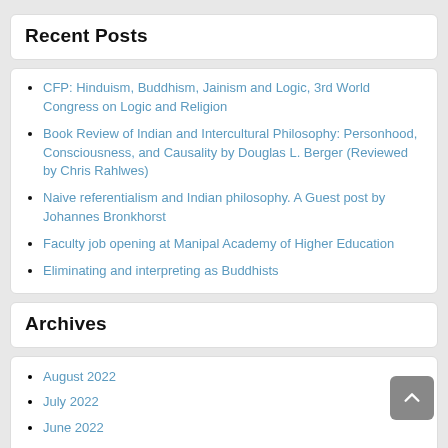Recent Posts
CFP: Hinduism, Buddhism, Jainism and Logic, 3rd World Congress on Logic and Religion
Book Review of Indian and Intercultural Philosophy: Personhood, Consciousness, and Causality by Douglas L. Berger (Reviewed by Chris Rahlwes)
Naive referentialism and Indian philosophy. A Guest post by Johannes Bronkhorst
Faculty job opening at Manipal Academy of Higher Education
Eliminating and interpreting as Buddhists
Archives
August 2022
July 2022
June 2022
May 2022
April 2022